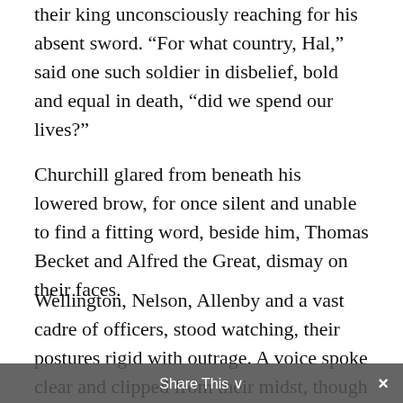their king unconsciously reaching for his absent sword. “For what country, Hal,” said one such soldier in disbelief, bold and equal in death, “did we spend our lives?”
Churchill glared from beneath his lowered brow, for once silent and unable to find a fitting word, beside him, Thomas Becket and Alfred the Great, dismay on their faces.
Wellington, Nelson, Allenby and a vast cadre of officers, stood watching, their postures rigid with outrage. A voice spoke clear and clipped from their midst, though it could have been any of them, “A thousand thousand bloody deaths and countless even more, by sword, axe
Share This ∨ ×